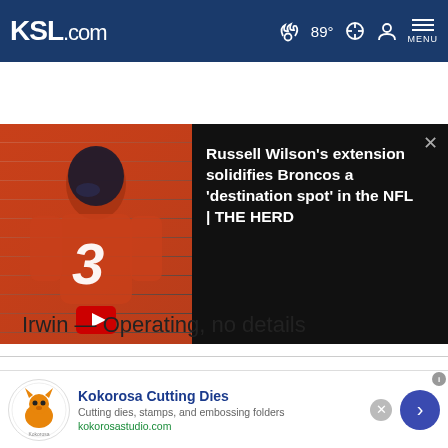KSL.com — 89° weather, search, account, MENU
[Figure (screenshot): Video thumbnail of Denver Broncos player #3 in orange jersey, with text overlay: Russell Wilson's extension solidifies Broncos a 'destination spot' in the NFL | THE HERD]
Irwin — Operating, no details
Cookie Notice
We use cookies to improve your experience, analyze site traffic, and to personalize content and ads. By continuing to use our site, you consent to our use of cookies. Please visit our Terms of Use and Privacy Policy for more information
[Figure (infographic): Advertisement for Kokorosa Cutting Dies — Cutting dies, stamps, and embossing folders — kokorosastudio.com]